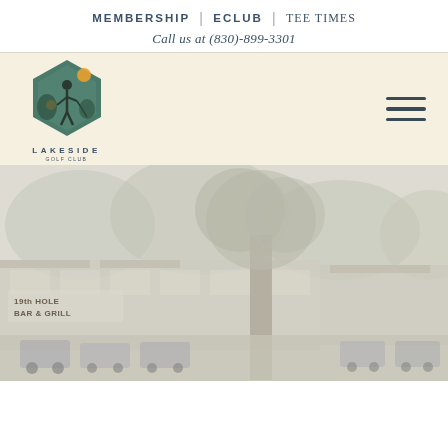MEMBERSHIP | ECLUB | Tee Times
Call us at (830)-899-3301
[Figure (logo): Lakeside Golf Club hexagonal logo with golfer silhouette, trees, and orange/teal accents, with text LAKESIDE below]
[Figure (photo): Faded/washed-out photograph of Lakeside Golf Club exterior showing a building with 19th Hole Bar & Grill signage, large trees, and golf carts parked outside]